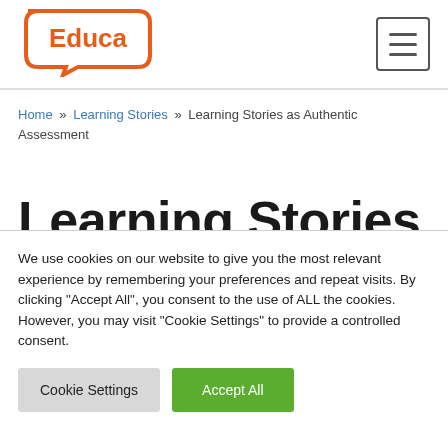[Figure (logo): Educa logo - orange speech bubble with 'Educa' text inside]
Home » Learning Stories » Learning Stories as Authentic Assessment
Learning Stories as Authentic
We use cookies on our website to give you the most relevant experience by remembering your preferences and repeat visits. By clicking "Accept All", you consent to the use of ALL the cookies. However, you may visit "Cookie Settings" to provide a controlled consent.